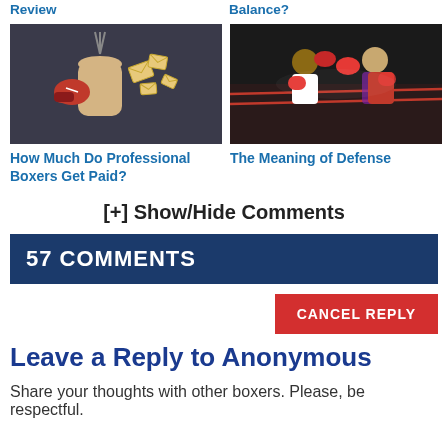Review
Balance?
[Figure (illustration): Cartoon illustration of a boxing glove punching a punching bag with envelopes flying out, on dark background]
[Figure (photo): Photo of two boxers in a boxing match, one in white shorts and one in red shorts, exchanging punches in the ring]
How Much Do Professional Boxers Get Paid?
The Meaning of Defense
[+] Show/Hide Comments
57 COMMENTS
CANCEL REPLY
Leave a Reply to Anonymous
Share your thoughts with other boxers. Please, be respectful.